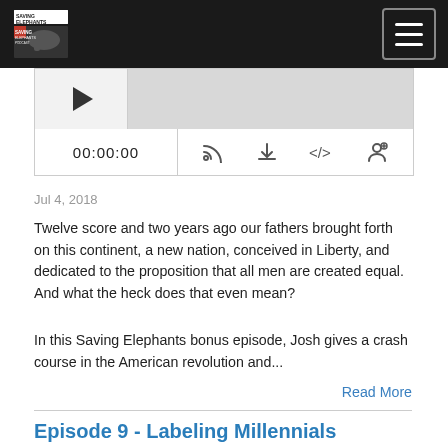Saving Elephants Podcast
[Figure (screenshot): Podcast audio player widget with play button thumbnail, gray title bar, time display 00:00:00, and control icons (RSS feed, download, embed, share)]
Jul 4, 2018
Twelve score and two years ago our fathers brought forth on this continent, a new nation, conceived in Liberty, and dedicated to the proposition that all men are created equal. And what the heck does that even mean?
In this Saving Elephants bonus episode, Josh gives a crash course in the American revolution and...
Read More
Episode 9 - Labeling Millennials